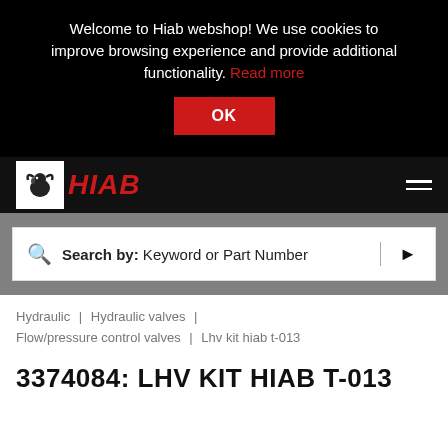Welcome to Hiab webshop! We use cookies to improve browsing experience and provide additional functionality. Read more
OK
[Figure (logo): HIAB logo with ram icon in white box and red italic HIAB text]
Search by: Keyword or Part Number
Hydraulic | Hydraulic valves | Flow/pressure control valves | Lhv kit hiab t-013
3374084: LHV KIT HIAB T-013